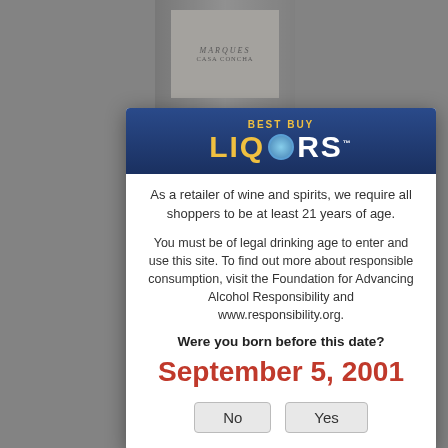[Figure (screenshot): Background of a wine retailer webpage showing a wine bottle with 'Marques Casa Concha' label, and partial text of a product page]
[Figure (logo): Best Buy Liquors logo on dark blue background with yellow 'BEST BUY' text above yellow and white 'LIQUORS' text]
As a retailer of wine and spirits, we require all shoppers to be at least 21 years of age.
You must be of legal drinking age to enter and use this site. To find out more about responsible consumption, visit the Foundation for Advancing Alcohol Responsibility and www.responsibility.org.
Were you born before this date?
September 5, 2001
No
Yes